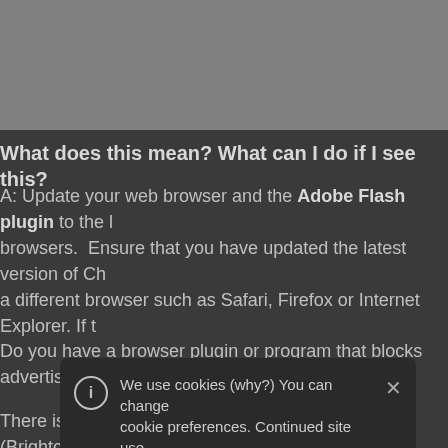[Figure (screenshot): Gray background area at top of page, representing a web browser screenshot backdrop]
What does this mean? What can I do if I see this?
A: Update your web browser and the Adobe Flash plugin to the latest browsers. Ensure that you have updated the latest version of Chrome, a different browser such as Safari, Firefox or Internet Explorer. If t
Do you have a browser plugin or program that blocks advertising
There is a cookie used by our 3rd party host (Brightcove) for all o for you to get access to the episodes online. If you are seeing th Until your computer is able to access the DRM cookie from Brigh (Digital Rights Management) is demanded by the producers of th mate Here epi
We use cookies (why?) You can change cookie preferences. Continued site use